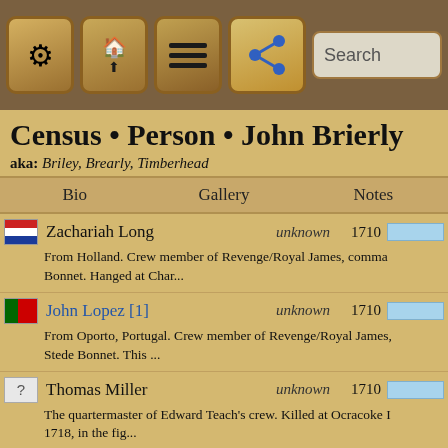[Figure (screenshot): App toolbar with navigation icons: ship wheel, home/up, menu, share button, and search bar]
Census • Person • John Brierly
aka: Briley, Brearly, Timberhead
| Bio | Gallery | Notes |
| --- | --- | --- |
Zachariah Long | unknown | 1710 | From Holland. Crew member of Revenge/Royal James, command Bonnet. Hanged at Char...
John Lopez [1] | unknown | 1710 | From Oporto, Portugal. Crew member of Revenge/Royal James, Stede Bonnet. This ...
Thomas Miller | unknown | 1710 | The quartermaster of Edward Teach's crew. Killed at Ocracoke I 1718, in the fig...
Humphrey Morrice | unknown | 1710 | Of New Providence, Bahama Islands. Hanged at New Providence reformed fellow...
William Morrison | unknown | 1710 | From Jamaica. Crew member of Revenge/Royal James...